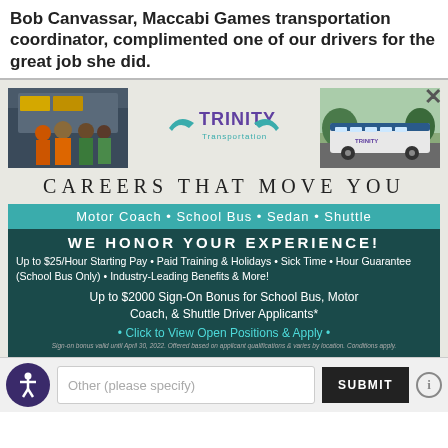Bob Canvassar, Maccabi Games transportation coordinator, complimented one of our drivers for the great job she did.
[Figure (photo): Trinity Transportation advertisement showing workers in safety vests, Trinity Transportation logo, and a motor coach bus]
CAREERS THAT MOVE YOU
Motor Coach • School Bus • Sedan • Shuttle
WE HONOR YOUR EXPERIENCE!
Up to $25/Hour Starting Pay • Paid Training & Holidays • Sick Time • Hour Guarantee (School Bus Only) • Industry-Leading Benefits & More!
Up to $2000 Sign-On Bonus for School Bus, Motor Coach, & Shuttle Driver Applicants*
• Click to View Open Positions & Apply •
Sign-on bonus valid until April 30, 2022. Offered based on applicant qualifications & varies by location. Conditions apply.
[Figure (screenshot): Bottom UI bar with accessibility icon, Other (please specify) input field, and SUBMIT button]